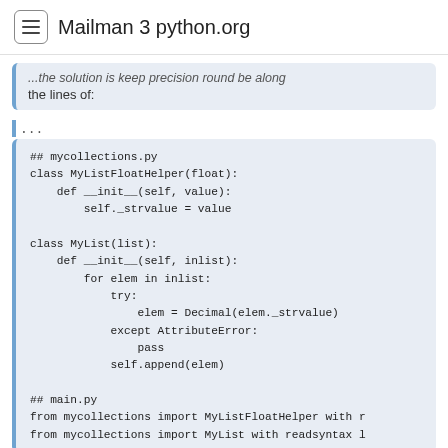Mailman 3 python.org
...the solution is keep precision round be along the lines of:
...
## mycollections.py
class MyListFloatHelper(float):
    def __init__(self, value):
        self._strvalue = value

class MyList(list):
    def __init__(self, inlist):
        for elem in inlist:
            try:
                elem = Decimal(elem._strvalue)
            except AttributeError:
                pass
            self.append(elem)

## main.py
from mycollections import MyListFloatHelper with r
from mycollections import MyList with readsyntax l